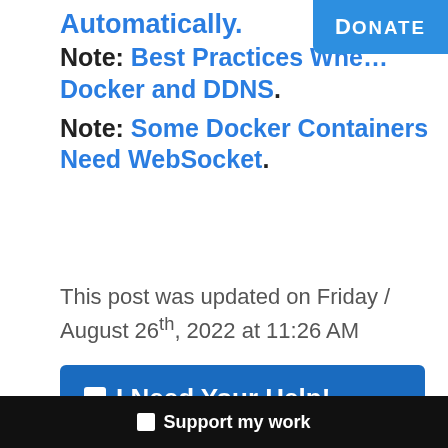Automatically.
[Figure (other): Donate button in blue at top right corner with text DONATE]
Note: Best Practices When Using Docker and DDNS.
Note: Some Docker Containers Need WebSocket.
This post was updated on Friday / August 26th, 2022 at 11:26 AM
🔲 I Need Your Help!
🔲 Support my work